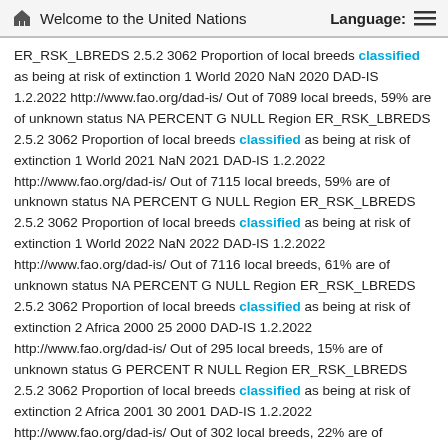Welcome to the United Nations   Language:
ER_RSK_LBREDS 2.5.2 3062 Proportion of local breeds classified as being at risk of extinction 1 World 2020 NaN 2020 DAD-IS 1.2.2022 http://www.fao.org/dad-is/ Out of 7089 local breeds, 59% are of unknown status NA PERCENT G NULL Region ER_RSK_LBREDS 2.5.2 3062 Proportion of local breeds classified as being at risk of extinction 1 World 2021 NaN 2021 DAD-IS 1.2.2022 http://www.fao.org/dad-is/ Out of 7115 local breeds, 59% are of unknown status NA PERCENT G NULL Region ER_RSK_LBREDS 2.5.2 3062 Proportion of local breeds classified as being at risk of extinction 1 World 2022 NaN 2022 DAD-IS 1.2.2022 http://www.fao.org/dad-is/ Out of 7116 local breeds, 61% are of unknown status NA PERCENT G NULL Region ER_RSK_LBREDS 2.5.2 3062 Proportion of local breeds classified as being at risk of extinction 2 Africa 2000 25 2000 DAD-IS 1.2.2022 http://www.fao.org/dad-is/ Out of 295 local breeds, 15% are of unknown status G PERCENT R NULL Region ER_RSK_LBREDS 2.5.2 3062 Proportion of local breeds classified as being at risk of extinction 2 Africa 2001 30 2001 DAD-IS 1.2.2022 http://www.fao.org/dad-is/ Out of 302 local breeds, 22% are of unknown status G PERCENT R NULL Region ER_RSK_LBREDS 2.5.2 3062 Proportion of local breeds classified as being at risk of extinction 2 Africa 2002 NaN 2002 DAD-IS 1.2.2022 http://www.fao.org/dad-is/ Out of 303 local breeds, 30% are of unknown status NA PERCENT R NULL Region ER_RSK_LBREDS 2.5.2 3062 Proportion of local breeds classified as being at risk of extinction 2 Africa 2003 40 2003 DAD-IS 1.2.2022 http://www.fao.org/dad-is/ Out of 314 local breeds, 33% ...